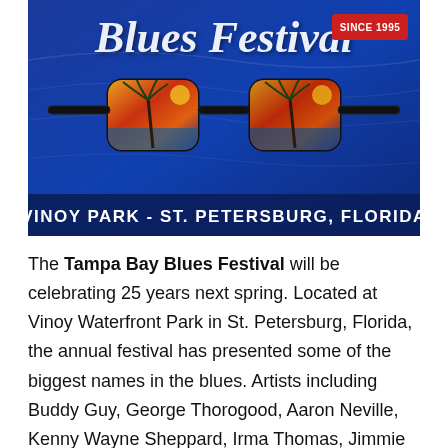[Figure (illustration): Tampa Bay Blues Festival promotional image showing script festival logo text, sunglasses with tropical reflection, 'SINCE 1995' red badge, and 'VINOY PARK - ST. PETERSBURG, FLORIDA' text bar at bottom. Blue background.]
The Tampa Bay Blues Festival will be celebrating 25 years next spring. Located at Vinoy Waterfront Park in St. Petersburg, Florida, the annual festival has presented some of the biggest names in the blues. Artists including Buddy Guy, George Thorogood, Aaron Neville, Kenny Wayne Sheppard, Irma Thomas, Jimmie Vaughn, Jerry Lee Lewis, Koko Taylor and many others